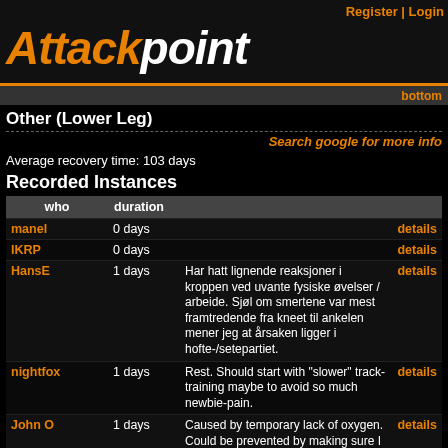Register | Login
Attackpoint
bottom
Other (Lower Leg)
Search google for more info
Average recovery time: 103 days
Recorded Instances
| who | duration |  |  |
| --- | --- | --- | --- |
| manel | 0 days |  | details |
| IKRP | 0 days |  | details |
| HansE | 1 days | Har hatt lignende reaksjoner i kroppen ved uvante fysiske øvelser / arbeide. Sjøl om smertene var mest framtredende fra kneet til ankelen mener jeg at årsaken ligger i hofte-/setepartiet. | details |
| nightfox | 1 days | Rest. Should start with "slower" track-training maybe to avoid so much newbie-pain. | details |
| John O | 1 days | Caused by temporary lack of oxygen. Could be prevented by making sure I | details |